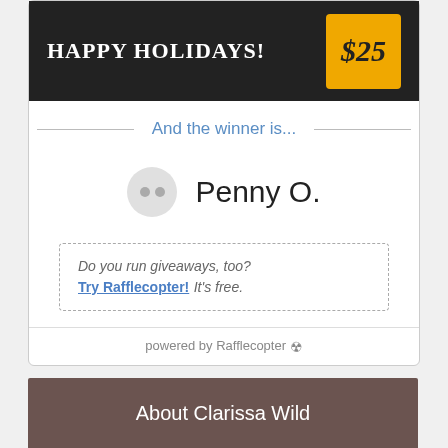[Figure (illustration): Happy Holidays $25 gift card image — dark background with white text 'HAPPY HOLIDAYS!' and a gold/orange badge showing '$25' in italic serif font.]
And the winner is...
Penny O.
Do you run giveaways, too? Try Rafflecopter! It's free.
powered by Rafflecopter
About Clarissa Wild